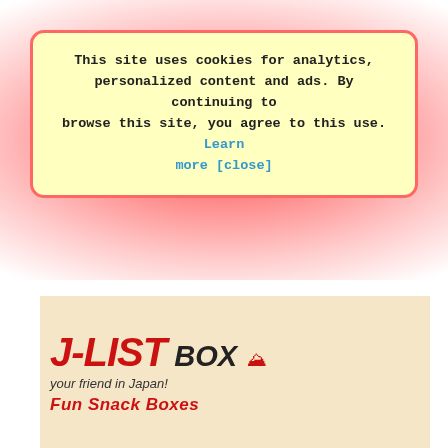This site uses cookies for analytics, personalized content and ads. By continuing to browse this site, you agree to this use. Learn more [close]
[Figure (illustration): J-LIST BOX advertisement banner showing logo with text 'your friend in Japan! Fun Snack Boxes' on a tan background, next to a colorful mosaic of Japanese snack product images including Milka, Kit Kat, Pocky, Pico, and other snacks.]